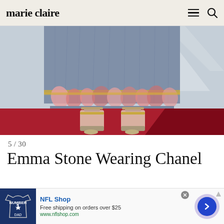marie claire
[Figure (photo): Close-up of the lower half of a blue/grey pleated gown with pink feather and gold sequin trim at the hem, worn by a person standing on a red carpet. The person is wearing nude platform heeled sandals with ankle straps.]
5 / 30
Emma Stone Wearing Chanel
[Figure (other): Advertisement for NFL Shop showing a navy NFL jersey and text: NFL Shop, Free shipping on orders over $25, www.nflshop.com, with a blue arrow button on the right.]